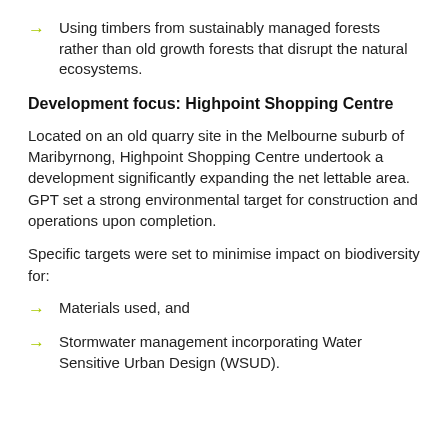Using timbers from sustainably managed forests rather than old growth forests that disrupt the natural ecosystems.
Development focus: Highpoint Shopping Centre
Located on an old quarry site in the Melbourne suburb of Maribyrnong, Highpoint Shopping Centre undertook a development significantly expanding the net lettable area. GPT set a strong environmental target for construction and operations upon completion.
Specific targets were set to minimise impact on biodiversity for:
Materials used, and
Stormwater management incorporating Water Sensitive Urban Design (WSUD).